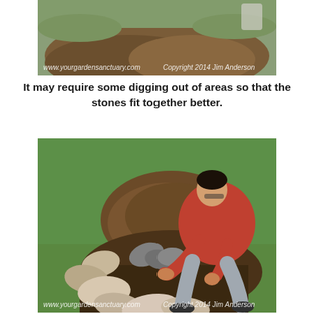[Figure (photo): Photo of a garden area showing dirt/soil with stones being arranged, top portion cropped. Watermark text reads: www.yourgardensanctuary.com and Copyright 2014 Jim Anderson]
It may require some digging out of areas so that the stones fit together better.
[Figure (photo): Photo of a man in a red shirt crouching over a garden area, arranging stones around a mound of dug-up dirt on green grass. Watermark text reads: www.yourgardensanctuary.com and Copyright 2014 Jim Anderson]